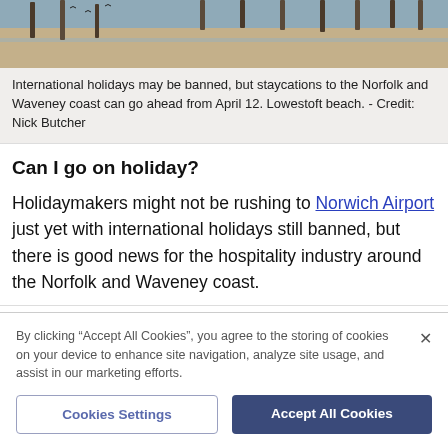[Figure (photo): Beach photo showing sandy shore with wooden posts/groynes and sea in the background]
International holidays may be banned, but staycations to the Norfolk and Waveney coast can go ahead from April 12. Lowestoft beach. - Credit: Nick Butcher
Can I go on holiday?
Holidaymakers might not be rushing to Norwich Airport just yet with international holidays still banned, but there is good news for the hospitality industry around the Norfolk and Waveney coast.
By clicking “Accept All Cookies”, you agree to the storing of cookies on your device to enhance site navigation, analyze site usage, and assist in our marketing efforts.